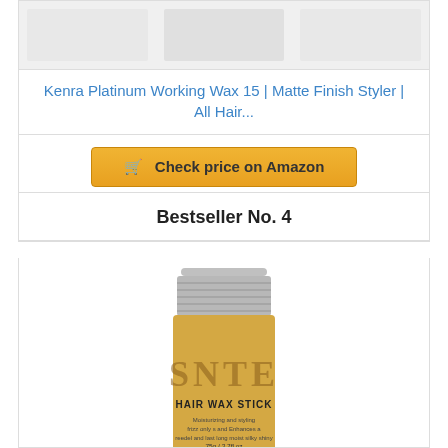[Figure (photo): Three product images in a row (placeholder thumbnails for Kenra Platinum Working Wax 15)]
Kenra Platinum Working Wax 15 | Matte Finish Styler | All Hair...
🛒 Check price on Amazon
Bestseller No. 4
[Figure (photo): SNTE Hair Wax Stick product bottle with silver cap and gold/tan label, 75g / 2.7fl oz]